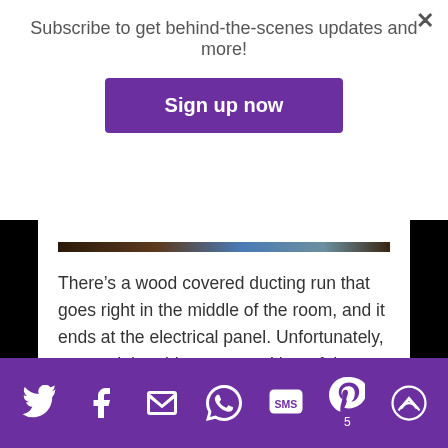Subscribe to get behind-the-scenes updates and more!
Sign up now
[Figure (photo): Dark image strip showing a room interior]
There’s a wood covered ducting run that goes right in the middle of the room, and it ends at the electrical panel. Unfortunately, we won’t be able to move either of those things, but there’s still enough head room to walk under the ducts.
Social share bar with Twitter, Facebook, Email, WhatsApp, SMS, Pinterest (5), and more options icons